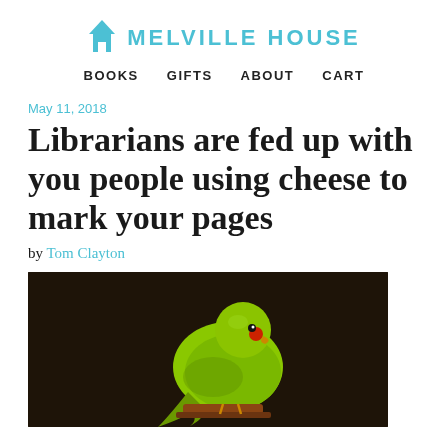MELVILLE HOUSE | BOOKS   GIFTS   ABOUT   CART
May 11, 2018
Librarians are fed up with you people using cheese to mark your pages
by Tom Clayton
[Figure (photo): A green parrot (ring-necked parakeet) perched on a small platform against a dark brown background, painted in a classical style.]